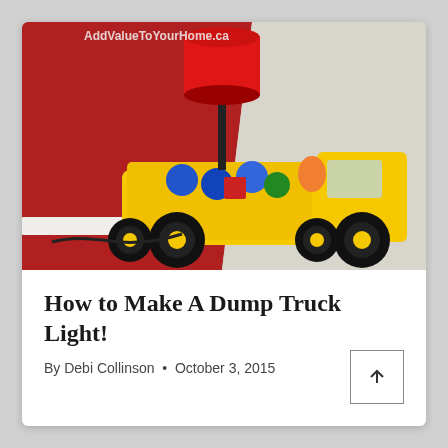[Figure (photo): A yellow toy dump truck with colorful plastic balls in the bed and a red cylindrical lamp mounted on top, sitting on a white surface against a red wall. A watermark reads 'AddValueToYourHome.ca' at the top.]
How to Make A Dump Truck Light!
By Debi Collinson  •  October 3, 2015